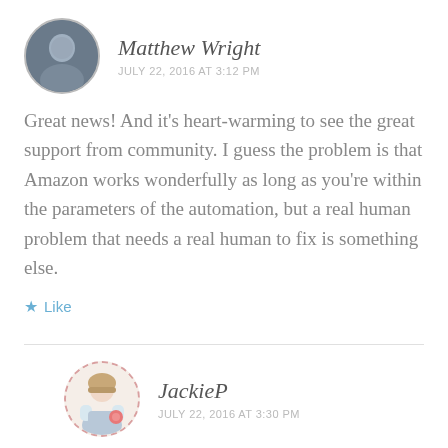Matthew Wright
JULY 22, 2016 AT 3:12 PM
Great news! And it’s heart-warming to see the great support from community. I guess the problem is that Amazon works wonderfully as long as you’re within the parameters of the automation, but a real human problem that needs a real human to fix is something else.
★ Like
JackieP
JULY 22, 2016 AT 3:30 PM